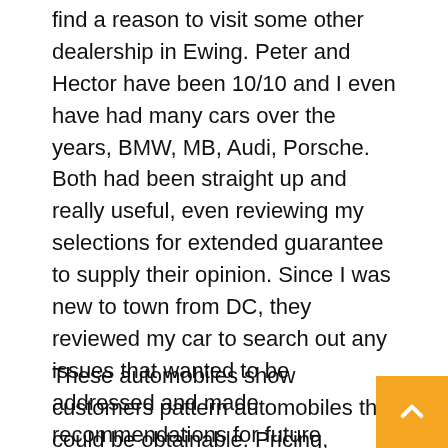find a reason to visit some other dealership in Ewing. Peter and Hector have been 10/10 and I even have had many cars over the years, BMW, MB, Audi, Porsche. Both had been straight up and really useful, even reviewing my selections for extended guarantee to supply their opinion. Since I was new to town from DC, they reviewed my car to search out any issues that wanted to be addressed and made recommendations for future service and tweaks to improve efficiency. I might inform from our talks that have been knowledgeable about restore and upkeep.
These automobiles show customers pattern automobiles that could be obtainable. Pricing, Options, Color and different data pertaining to these autos are provided for example solely. A pertaining to those automobiles should be